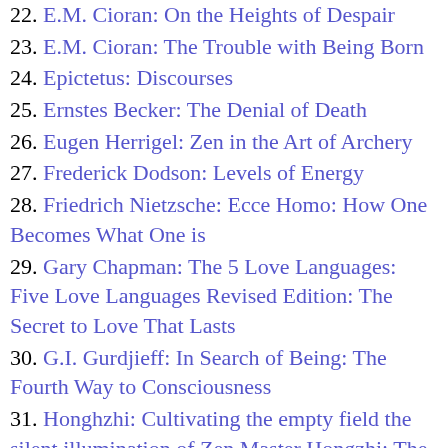22. E.M. Cioran: On the Heights of Despair
23. E.M. Cioran: The Trouble with Being Born
24. Epictetus: Discourses
25. Ernstes Becker: The Denial of Death
26. Eugen Herrigel: Zen in the Art of Archery
27. Frederick Dodson: Levels of Energy
28. Friedrich Nietzsche: Ecce Homo: How One Becomes What One is
29. Gary Chapman: The 5 Love Languages: Five Love Languages Revised Edition: The Secret to Love That Lasts
30. G.I. Gurdjieff: In Search of Being: The Fourth Way to Consciousness
31. Honghzhi: Cultivating the empty field the silent illumination of Zen Master Hongzhi: The Silent Illumination of Zen Master Hongzhi (Tuttle Library of Enlightenment)
32. Hui Hai: Zen Teaching of Instantaneous Awakening being the teaching of the Zen Master Hui Hai known as the Great Pearl